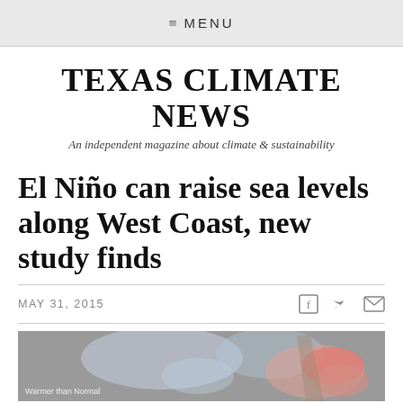≡ MENU
TEXAS CLIMATE NEWS
An independent magazine about climate & sustainability
El Niño can raise sea levels along West Coast, new study finds
MAY 31, 2015
[Figure (photo): Satellite imagery showing ocean temperature anomalies off the West Coast, with warmer than normal areas visible in reds and pinks. Caption reads 'Warmer than Normal'.]